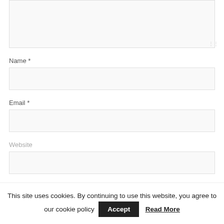[Figure (screenshot): Textarea form field (comment box) at the top of the page, partially visible, with resize handle at bottom-right corner.]
Name *
[Figure (screenshot): Name input text field, empty, light gray background with border.]
Email *
[Figure (screenshot): Email input text field, empty, light gray background with border.]
Website
[Figure (screenshot): Website input text field, empty, light gray background with border.]
This site uses cookies. By continuing to use this website, you agree to our cookie policy Accept Read More